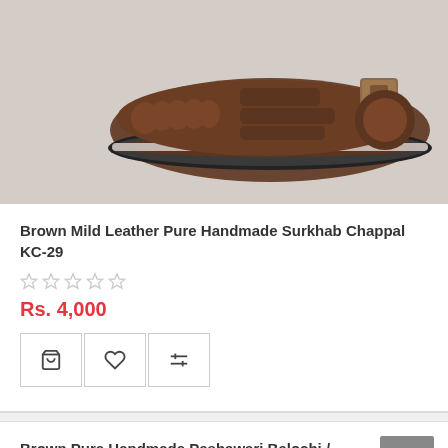[Figure (photo): Brown leather sandal/chappal with woven straps and buckle detail, viewed from above at an angle on a light background.]
Brown Mild Leather Pure Handmade Surkhab Chappal KC-29
★★★★★ (empty stars rating)
Rs. 4,000
[Figure (infographic): Three action buttons: shopping cart, heart/wishlist, and compare icons]
Brown Pure Handmade Peshawari Balochi / Noruzi Chappal KC-35
★★★★★ (empty stars rating)